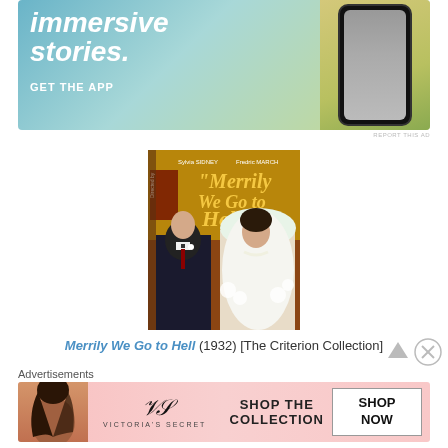[Figure (photo): Advertisement banner showing gradient blue-green background with 'immersive stories.' text and GET THE APP button, with phone mockup on right]
REPORT THIS AD
[Figure (photo): Movie poster for 'Merrily We Go to Hell' (1932) showing a man in a tuxedo and a woman in a wedding dress with flowers]
Merrily We Go to Hell (1932) [The Criterion Collection]
Advertisements
[Figure (photo): Victoria's Secret advertisement with a model, Victoria's Secret logo, SHOP THE COLLECTION text, and SHOP NOW button]